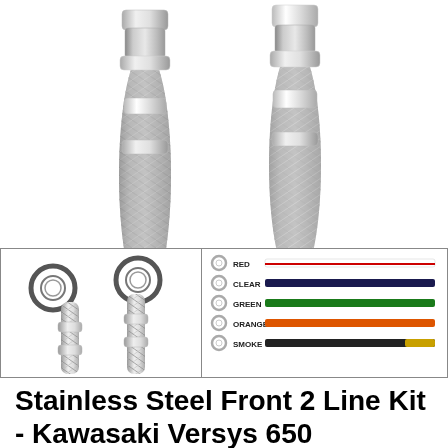[Figure (photo): Close-up photo of two stainless steel braided brake lines with chrome banjo fittings on white background]
[Figure (photo): Bottom left: close-up of banjo bolt connectors on stainless brake lines. Bottom right: color swatch chart showing RED, CLEAR, GREEN, ORANGE, SMOKE options with corresponding colored lines]
Stainless Steel Front 2 Line Kit - Kawasaki Versys 650 (European Model) 2006-2007